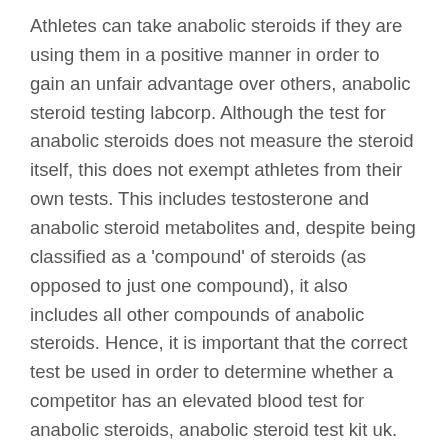Athletes can take anabolic steroids if they are using them in a positive manner in order to gain an unfair advantage over others, anabolic steroid testing labcorp. Although the test for anabolic steroids does not measure the steroid itself, this does not exempt athletes from their own tests. This includes testosterone and anabolic steroid metabolites and, despite being classified as a 'compound' of steroids (as opposed to just one compound), it also includes all other compounds of anabolic steroids. Hence, it is important that the correct test be used in order to determine whether a competitor has an elevated blood test for anabolic steroids, anabolic steroid test kit uk.
If the tests are negative, an athlete can still take the anabolic steroid and perform